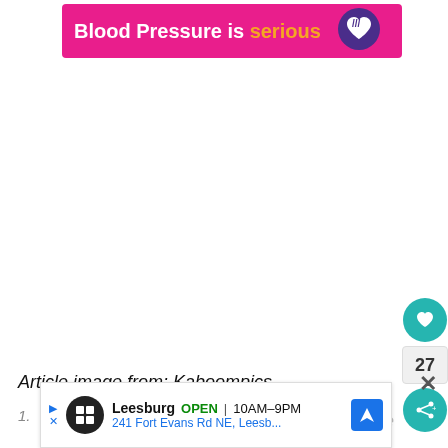[Figure (infographic): Pink banner ad reading 'Blood Pressure is serious' with a purple heart icon on the right]
Article image from: Kaboompics
[Figure (infographic): Local business ad for Leesburg store, OPEN 10AM-9PM, 241 Fort Evans Rd NE, Leesb... with navigation icon]